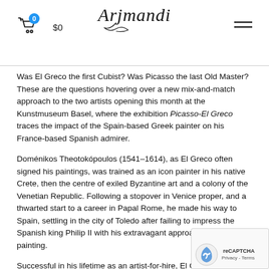Arjmandi — $0 cart
Was El Greco the first Cubist? Was Picasso the last Old Master? These are the questions hovering over a new mix-and-match approach to the two artists opening this month at the Kunstmuseum Basel, where the exhibition Picasso-El Greco traces the impact of the Spain-based Greek painter on his France-based Spanish admirer.
Doménikos Theotokópoulos (1541–1614), as El Greco often signed his paintings, was trained as an icon painter in his native Crete, then the centre of exiled Byzantine art and a colony of the Venetian Republic. Following a stopover in Venice proper, and a thwarted start to a career in Papal Rome, he made his way to Spain, settling in the city of Toledo after failing to impress the Spanish king Philip II with his extravagant approach to religious painting.
Successful in his lifetime as an artist-for-hire, El Greco was all but forgotten not long after his death, and it lo... coterie of French artists and writers in the 19th centur... notably Édouard Manet and Paul Cézanne, to redisco... and promote him as a harbinger of all things modern. It